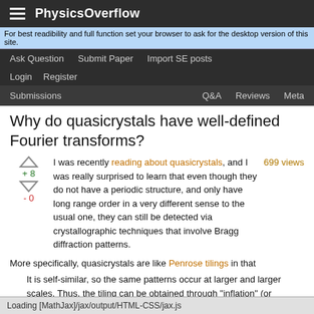PhysicsOverflow
For best readibility and full function set your browser to ask for the desktop version of this site.
Ask Question  Submit Paper  Import SE posts
Login  Register
Submissions  Q&A  Reviews  Meta
Why do quasicrystals have well-defined Fourier transforms?
I was recently reading about quasicrystals, and I was really surprised to learn that even though they do not have a periodic structure, and only have long range order in a very different sense to the usual one, they can still be detected via crystallographic techniques that involve Bragg diffraction patterns.  699 views
More specifically, quasicrystals are like Penrose tilings in that
It is self-similar, so the same patterns occur at larger and larger scales. Thus, the tiling can be obtained through "inflation" (or "deflation") and any finite patch from the tiling occurs infinitely many times.
The emphasized text also means that if I have a finite patch of quasicrystal to which I want to add atoms to make the full pattern, then there will be an infinite number of different ways to do this. Therefore, the process of adding atoms is constrained by certain rules
Loading [MathJax]/jax/output/HTML-CSS/jax.js